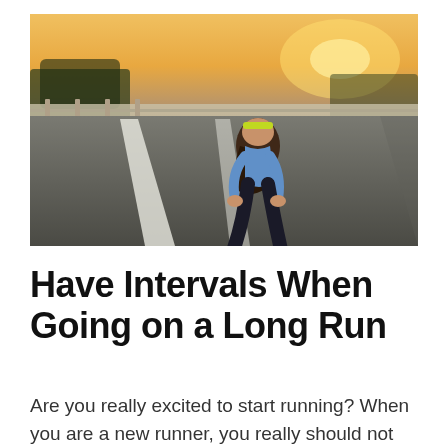[Figure (photo): A female runner wearing a yellow headband, blue top, dark compression tights, and yellow/purple sneakers, bending over with hands on knees on a wide empty road at sunrise/sunset. A bridge guardrail and trees are visible in the background with a warm golden sky.]
Have Intervals When Going on a Long Run
Are you really excited to start running? When you are a new runner, you really should not the...